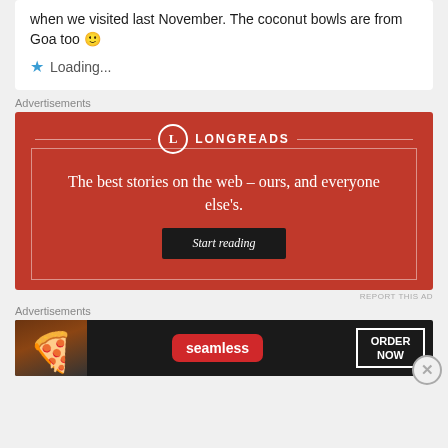when we visited last November. The coconut bowls are from Goa too 🙂
⭐ Loading...
Advertisements
[Figure (other): Longreads advertisement banner. Red background with white circle L logo and text 'LONGREADS'. Inner white-bordered rectangle contains serif text: 'The best stories on the web – ours, and everyone else's.' with a dark 'Start reading' button.]
REPORT THIS AD
Advertisements
[Figure (other): Seamless food delivery advertisement. Dark background with pizza image on left, red Seamless logo in center, and 'ORDER NOW' button on right.]